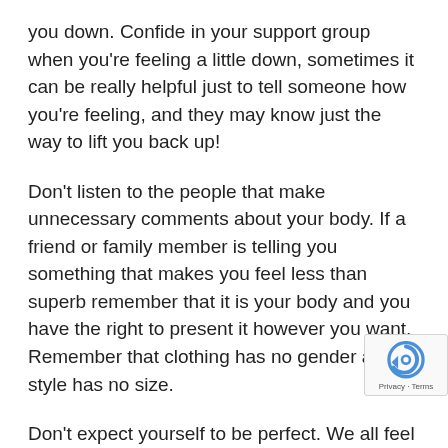you down. Confide in your support group when you're feeling a little down, sometimes it can be really helpful just to tell someone how you're feeling, and they may know just the way to lift you back up!
Don't listen to the people that make unnecessary comments about your body. If a friend or family member is telling you something that makes you feel less than superb remember that it is your body and you have the right to present it however you want. Remember that clothing has no gender and style has no size.
Don't expect yourself to be perfect. We all feel a little self-critical at times and that's okay. The important thing is what you do when you feel down. Maybe try to focus on something you love doing like painting, drawing, going a walk, singing your favorite songs in the car, or eating ice cream! Confide in your support group, let them know